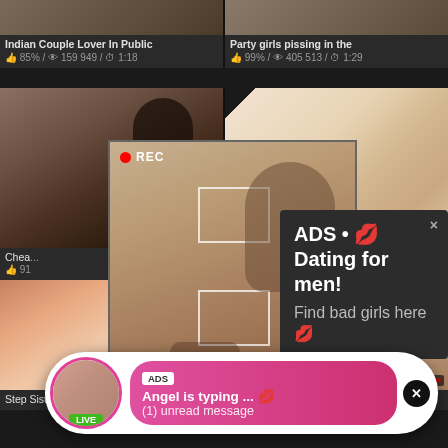Indian Couple Lover In Public
👍 85% / 👁 159 949 / ⏱ 1:18
Party girls pissing in the
👍 99% / 👁 405 513 / ⏱ 1:29
[Figure (screenshot): Video thumbnail - dark room scene]
[Figure (screenshot): Anime style thumbnail]
Chea...
👍 91
...er
[Figure (screenshot): REC selfie popup with woman taking mirror selfie, focus boxes overlay]
[Figure (screenshot): Dark ad popup: ADS • 💋 Dating for men! Find bad girls here 💋]
ADS • 💋 Dating for men!
Find bad girls here
💋
[Figure (screenshot): Notification bubble: ADS - Angel is typing... 💋 (1) unread message, with LIVE avatar]
ADS
Angel is typing ... 💋
(1) unread message
Step Sister Carolina Sweets
Aria Haze In Dick Doodler